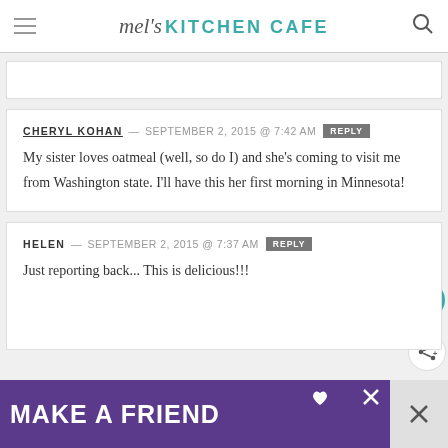mel's KITCHEN CAFE
CHERYL KOHAN — SEPTEMBER 2, 2015 @ 7:42 AM  REPLY
My sister loves oatmeal (well, so do I) and she’s coming to visit me from Washington state. I’ll have this her first morning in Minnesota!
HELEN — SEPTEMBER 2, 2015 @ 7:37 AM  REPLY
Just reporting back... This is delicious!!!
[Figure (screenshot): MAKE A FRIEND advertisement banner with dog image]